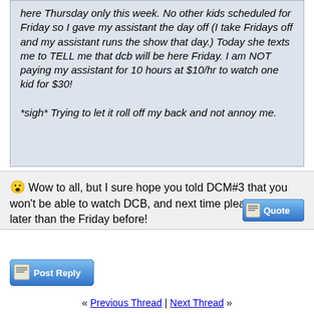...told me last week dcb would be here Thursday only this week. No other kids scheduled for Friday so I gave my assistant the day off (I take Fridays off and my assistant runs the show that day.) Today she texts me to TELL me that dcb will be here Friday. I am NOT paying my assistant for 10 hours at $10/hr to watch one kid for $30!

*sigh* Trying to let it roll off my back and not annoy me.
Wow to all, but I sure hope you told DCM#3 that you won't be able to watch DCB, and next time please "ask" no later than the Friday before!
[Figure (screenshot): Quote button - blue gradient button with pencil/paper icon and text 'Quote']
[Figure (screenshot): Post Reply button - blue gradient button with pencil/paper icon and text 'Post Reply']
« Previous Thread | Next Thread »